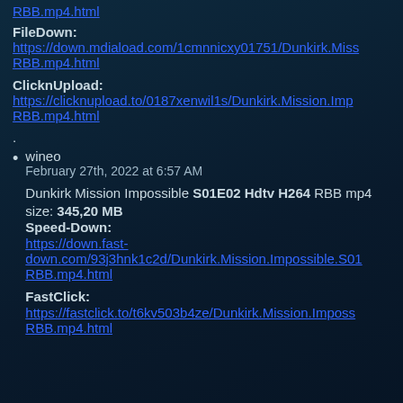RBB.mp4.html (link, truncated at top)
FileDown:
https://down.mdiaload.com/1cmnnicxy01751/Dunkirk.Mission...RBB.mp4.html
ClicknUpload:
https://clicknupload.to/0187xenwil1s/Dunkirk.Mission.Imp...RBB.mp4.html
.
wineo
February 27th, 2022 at 6:57 AM

Dunkirk Mission Impossible S01E02 Hdtv H264 RBB mp4

size: 345,20 MB
Speed-Down:
https://down.fast-down.com/93j3hnk1c2d/Dunkirk.Mission.Impossible.S01...RBB.mp4.html
FastClick:
https://fastclick.to/t6kv503b4ze/Dunkirk.Mission.Impossible...RBB.mp4.html